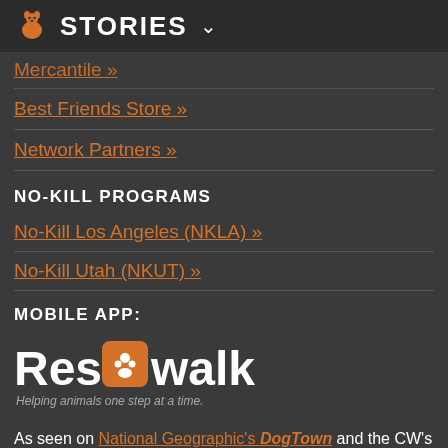STORIES
Mercantile »
Best Friends Store »
Network Partners »
NO-KILL PROGRAMS
No-Kill Los Angeles (NKLA) »
No-Kill Utah (NKUT) »
MOBILE APP:
[Figure (logo): ResQwalk logo — white and orange text reading 'ResQwalk' with a paw print icon. Tagline: 'Helping animals one step at a time.']
As seen on National Geographic's DogTown and the CW's Dog Town USA. And the inspiration behind the critically acclaimed film, The Champions